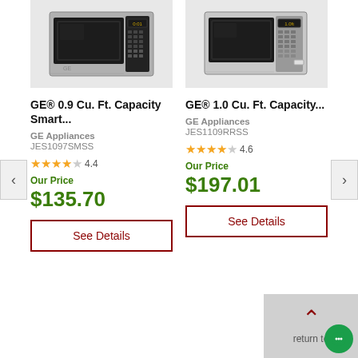[Figure (photo): GE microwave JES1097SMSS stainless steel countertop microwave]
GE® 0.9 Cu. Ft. Capacity Smart...
GE Appliances
JES1097SMSS
4.4 stars
Our Price
$135.70
See Details
[Figure (photo): GE microwave JES1109RRSS stainless steel countertop microwave]
GE® 1.0 Cu. Ft. Capacity...
GE Appliances
JES1109RRSS
4.6 stars
Our Price
$197.01
See Details
return to